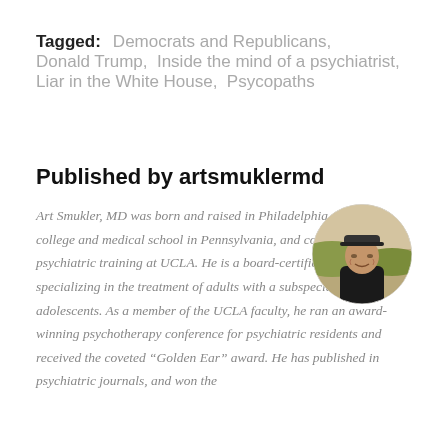Tagged: Democrats and Republicans, Donald Trump, Inside the mind of a psychiatrist, Liar in the White House, Psycopaths
Published by artsmuklermd
[Figure (photo): Circular author photo of Art Smukler MD wearing a dark cap and black shirt, outdoors with landscape background]
Art Smukler, MD was born and raised in Philadelphia, went to college and medical school in Pennsylvania, and completed his psychiatric training at UCLA. He is a board-certified psychiatrist, specializing in the treatment of adults with a subspecialty in adolescents. As a member of the UCLA faculty, he ran an award-winning psychotherapy conference for psychiatric residents and received the coveted “Golden Ear” award. He has published in psychiatric journals, and won the